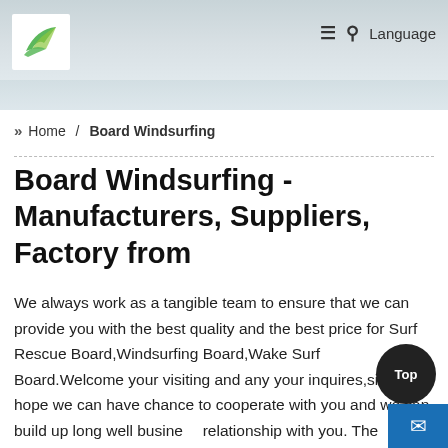[Figure (screenshot): Website header with logo, hamburger menu icon, search icon, and Language link on a grey/blue ocean water background]
» Home / Board Windsurfing
Board Windsurfing - Manufacturers, Suppliers, Factory from
We always work as a tangible team to ensure that we can provide you with the best quality and the best price for Surf Rescue Board,Windsurfing Board,Wake Surf Board.Welcome your visiting and any your inquires,sincerely hope we can have chance to cooperate with you and we can build up long well business relationship with you. The product will supply to all over the world such as Europe, America, Australia, Ghana ,Sevilla ,Miami